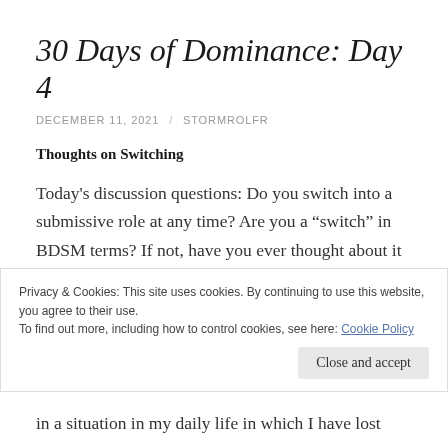30 Days of Dominance: Day 4
DECEMBER 11, 2021 / STORMROLFR
Thoughts on Switching
Today's discussion questions: Do you switch into a submissive role at any time? Are you a “switch” in BDSM terms? If not, have you ever thought about it or given thought to why it’s not for you? If you are in a Domestic Discipline relationship, are there things that
Privacy & Cookies: This site uses cookies. By continuing to use this website, you agree to their use.
To find out more, including how to control cookies, see here: Cookie Policy
in a situation in my daily life in which I have lost